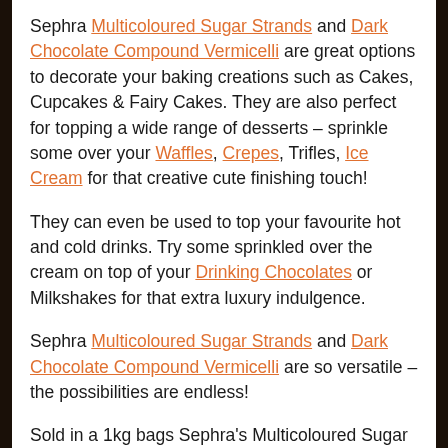Sephra Multicoloured Sugar Strands and Dark Chocolate Compound Vermicelli are great options to decorate your baking creations such as Cakes, Cupcakes & Fairy Cakes. They are also perfect for topping a wide range of desserts – sprinkle some over your Waffles, Crepes, Trifles, Ice Cream for that creative cute finishing touch!
They can even be used to top your favourite hot and cold drinks. Try some sprinkled over the cream on top of your Drinking Chocolates or Milkshakes for that extra luxury indulgence.
Sephra Multicoloured Sugar Strands and Dark Chocolate Compound Vermicelli are so versatile – the possibilities are endless!
Sold in a 1kg bags Sephra's Multicoloured Sugar Strands and Dark Chocolate Compound Vermicelli